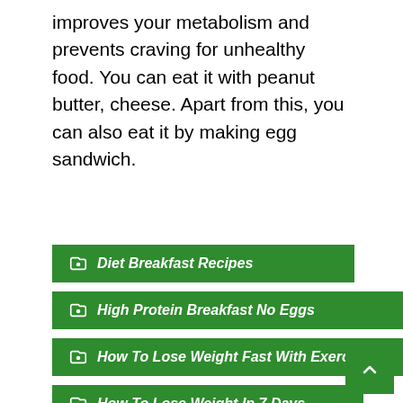improves your metabolism and prevents craving for unhealthy food. You can eat it with peanut butter, cheese. Apart from this, you can also eat it by making egg sandwich.
Diet Breakfast Recipes
High Protein Breakfast No Eggs
How To Lose Weight Fast With Exercise
How To Lose Weight In 7 Days
Weight Loss Breakfast Recipes
Weight Loss Breakfast Smoothies
What To Eat For Breakfast To Lose Weight